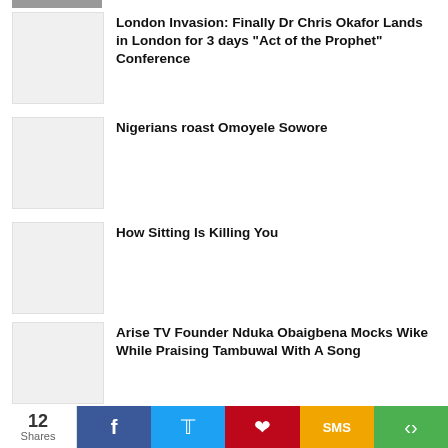[Figure (photo): Partially visible thumbnail image at top (cropped)]
London Invasion: Finally Dr Chris Okafor Lands in London for 3 days “Act of the Prophet” Conference
Nigerians roast Omoyele Sowore
How Sitting Is Killing You
Arise TV Founder Nduka Obaigbena Mocks Wike While Praising Tambuwal With A Song
12 Shares